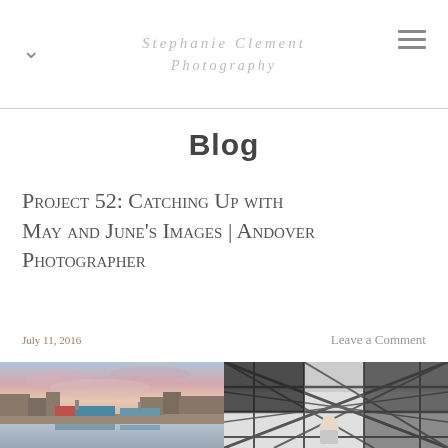Stephanie Clement Photography
Blog
Project 52: Catching Up with May and June's Images | Andover Photographer
July 11, 2016
Leave a Comment
[Figure (photo): Color photograph of a harbor with boats and pink sky at dusk, low tide with mudflats visible]
[Figure (photo): Black and white photograph of a child sitting inside a ferris wheel gondola with metal cage structure]